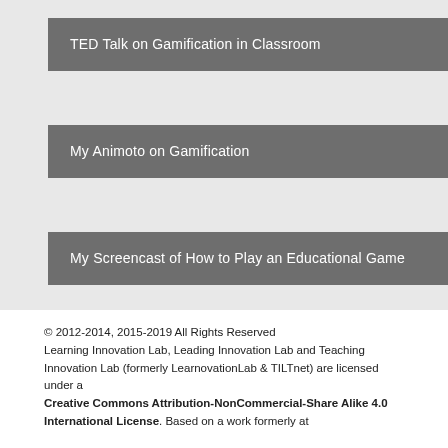TED Talk on Gamification in Classroom
My Animoto on Gamification
My Screencast of How to Play an Educational Game
© 2012-2014, 2015-2019 All Rights Reserved Learning Innovation Lab, Leading Innovation Lab and Teaching Innovation Lab (formerly LearnovationLab & TILTnet) are licensed under a Creative Commons Attribution-NonCommercial-Share Alike 4.0 International License. Based on a work formerly at